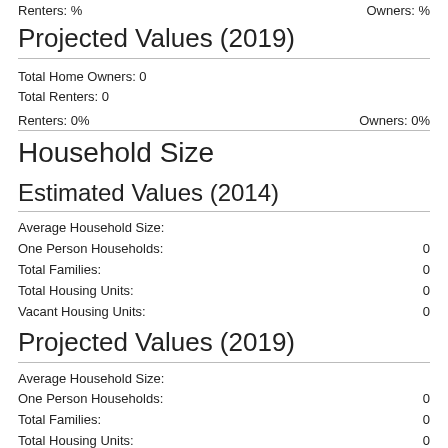Renters: %    Owners: %
Projected Values (2019)
Total Home Owners: 0
Total Renters: 0
Renters: 0%    Owners: 0%
Household Size
Estimated Values (2014)
Average Household Size:
One Person Households: 0
Total Families: 0
Total Housing Units: 0
Vacant Housing Units: 0
Projected Values (2019)
Average Household Size:
One Person Households: 0
Total Families: 0
Total Housing Units: 0
Vacant Housing Units: 0